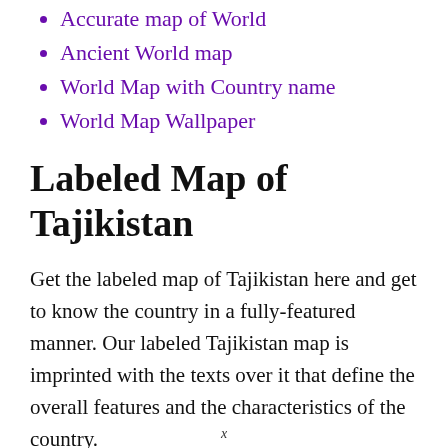Accurate map of World
Ancient World map
World Map with Country name
World Map Wallpaper
Labeled Map of Tajikistan
Get the labeled map of Tajikistan here and get to know the country in a fully-featured manner. Our labeled Tajikistan map is imprinted with the texts over it that define the overall features and the characteristics of the country.
[Figure (map): Partial view of a labeled map of Tajikistan showing KAZAKHSTAN label and Tashkent area at the top strip]